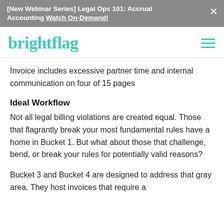[New Webinar Series] Legal Ops 101: Accrual Accounting Watch On-Demand!
[Figure (logo): Brightflag logo in teal color]
Invoice includes excessive partner time and internal communication on four of 15 pages
Ideal Workflow
Not all legal billing violations are created equal. Those that flagrantly break your most fundamental rules have a home in Bucket 1. But what about those that challenge, bend, or break your rules for potentially valid reasons?
Bucket 3 and Bucket 4 are designed to address that gray area. They host invoices that require a